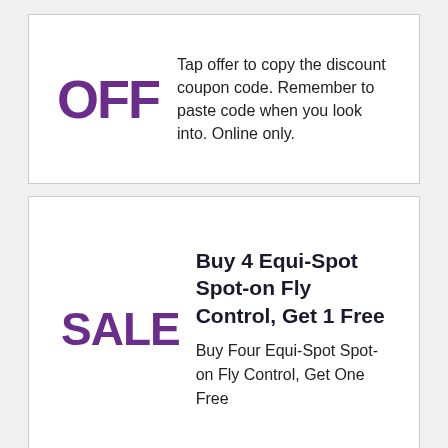OFF Tap offer to copy the discount coupon code. Remember to paste code when you look into. Online only.
Buy 4 Equi-Spot Spot-on Fly Control, Get 1 Free
Buy Four Equi-Spot Spot-on Fly Control, Get One Free
[Figure (infographic): Advertisement banner for Stäubli robotics: globe icon, brand link 'Stäubli', ad controls (arrow and X), headline 'Making your robots smarter?', body text 'Teach your robots overcoming complex tasks in leading high-end production processes.', green OPEN button.]